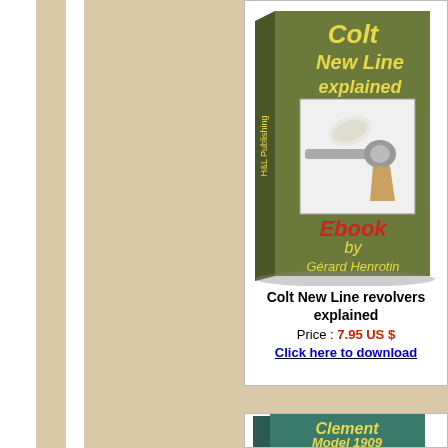[Figure (illustration): Book cover for 'Colt New Line explained' ebook by Gérard Henrotin, H&L Publishing. Shows a revolver image on an olive/green book cover with yellow and red text.]
Colt New Line revolvers explained
Price : 7.95 US $
Click here to download
[Figure (illustration): Partial book cover visible on the right side: 'Enfield...' blue cover, H&L Publishing]
Enfield ex...
Price Click he...
[Figure (illustration): Partial book cover at bottom: 'Clement Model 1909' on teal/green cover]